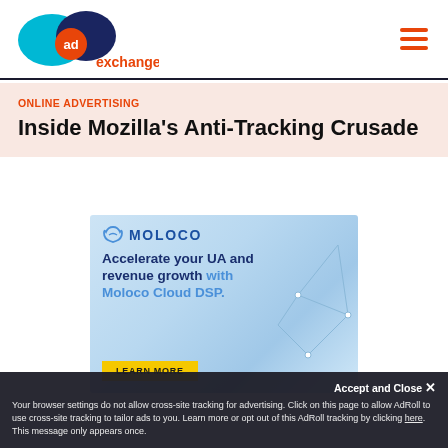[Figure (logo): AdExchanger logo with teal and navy overlapping circles and orange 'ad' badge]
ONLINE ADVERTISING
Inside Mozilla's Anti-Tracking Crusade
[Figure (advertisement): Moloco advertisement banner: Accelerate your UA and revenue growth with Moloco Cloud DSP. Learn More button. Light blue geometric background.]
Accept and Close ✕
Your browser settings do not allow cross-site tracking for advertising. Click on this page to allow AdRoll to use cross-site tracking to tailor ads to you. Learn more or opt out of this AdRoll tracking by clicking here. This message only appears once.